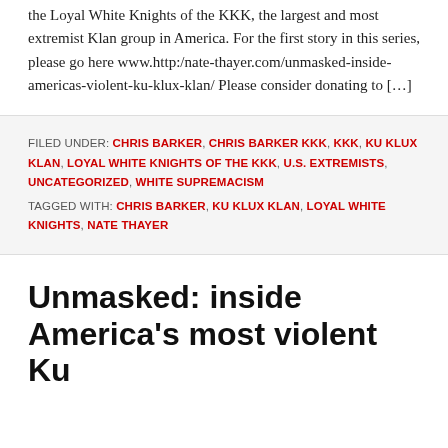the Loyal White Knights of the KKK, the largest and most extremist Klan group in America. For the first story in this series, please go here www.http:/nate-thayer.com/unmasked-inside-americas-violent-ku-klux-klan/ Please consider donating to […]
FILED UNDER: CHRIS BARKER, CHRIS BARKER KKK, KKK, KU KLUX KLAN, LOYAL WHITE KNIGHTS OF THE KKK, U.S. EXTREMISTS, UNCATEGORIZED, WHITE SUPREMACISM TAGGED WITH: CHRIS BARKER, KU KLUX KLAN, LOYAL WHITE KNIGHTS, NATE THAYER
Unmasked: inside America's most violent Ku